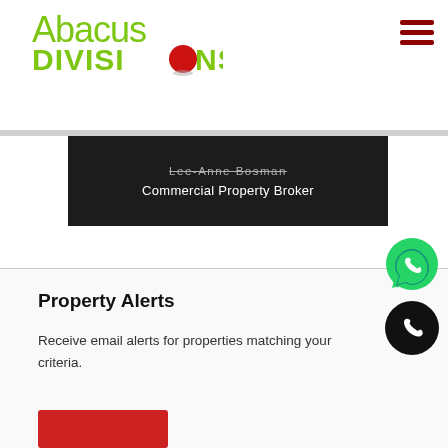[Figure (logo): Abacus Divisions logo with green text and red circle replacing the O in DIVISIONS]
[Figure (illustration): Hamburger menu icon with three dark red horizontal bars]
Lee-Anne Bosman
Commercial Property Broker
[Figure (illustration): WhatsApp green phone icon button]
[Figure (illustration): Black circle phone call icon button]
Property Alerts
Receive email alerts for properties matching your criteria.
[Figure (illustration): Red button partially visible at bottom]